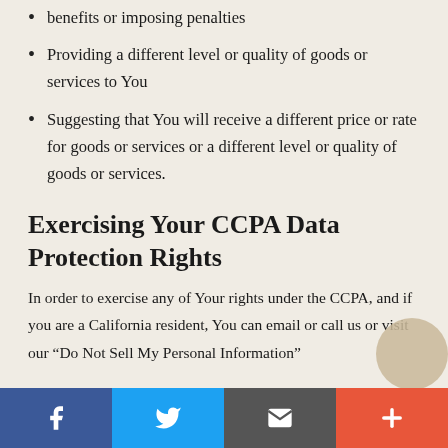benefits or imposing penalties
Providing a different level or quality of goods or services to You
Suggesting that You will receive a different price or rate for goods or services or a different level or quality of goods or services.
Exercising Your CCPA Data Protection Rights
In order to exercise any of Your rights under the CCPA, and if you are a California resident, You can email or call us or visit our “Do Not Sell My Personal Information”